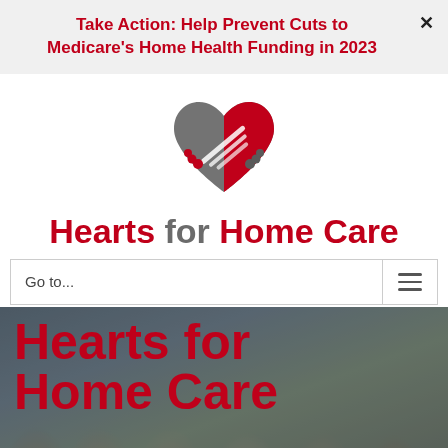Take Action: Help Prevent Cuts to Medicare's Home Health Funding in 2023
[Figure (logo): Hearts for Home Care logo: two hands forming a heart shape, one dark gray and one red, with the organization name below]
Hearts for Home Care
Go to...
Hearts for Home Care